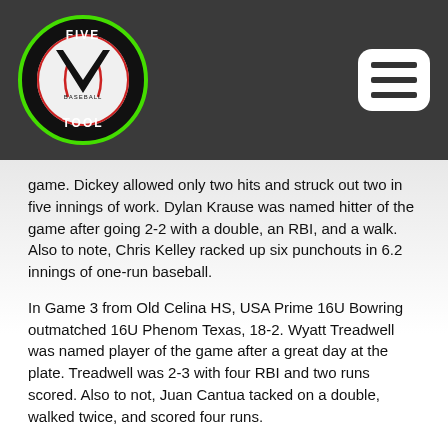[Figure (logo): Five Tool Baseball circular logo — black circle with green border, red/white baseball and V shape inside, text FIVE TOOL BASEBALL around the design]
game. Dickey allowed only two hits and struck out two in five innings of work. Dylan Krause was named hitter of the game after going 2-2 with a double, an RBI, and a walk. Also to note, Chris Kelley racked up six punchouts in 6.2 innings of one-run baseball.
In Game 3 from Old Celina HS, USA Prime 16U Bowring outmatched 16U Phenom Texas, 18-2. Wyatt Treadwell was named player of the game after a great day at the plate. Treadwell was 2-3 with four RBI and two runs scored. Also to not, Juan Cantua tacked on a double, walked twice, and scored four runs.